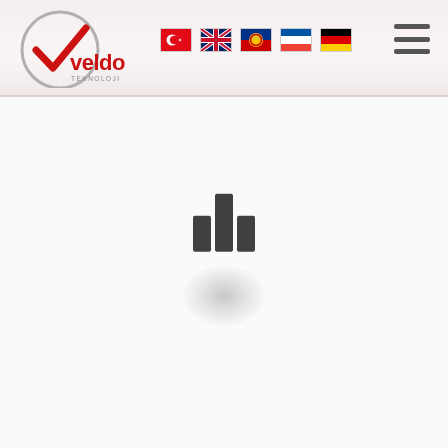[Figure (logo): Veldo Teknoloji logo with circular checkmark and red text]
[Figure (illustration): Five country flag icons: Turkey, UK, Russia, France, Germany]
[Figure (illustration): Hamburger menu icon (three horizontal lines)]
[Figure (illustration): Loading spinner with three vertical bars of different heights and a shadow blob below]